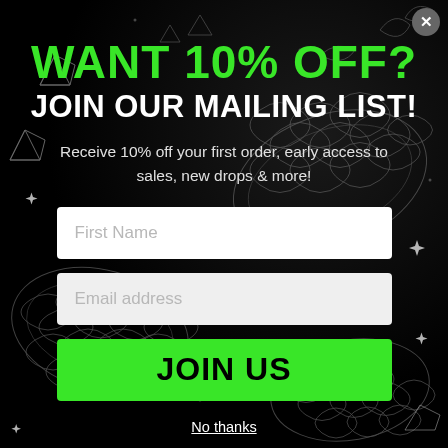[Figure (illustration): Dark background with glowing wireframe snake/serpent coil shapes, crystals, stars and sparkles decorative elements]
WANT 10% OFF?
JOIN OUR MAILING LIST!
Receive 10% off your first order, early access to sales, new drops & more!
First Name
Email address
JOIN US
No thanks